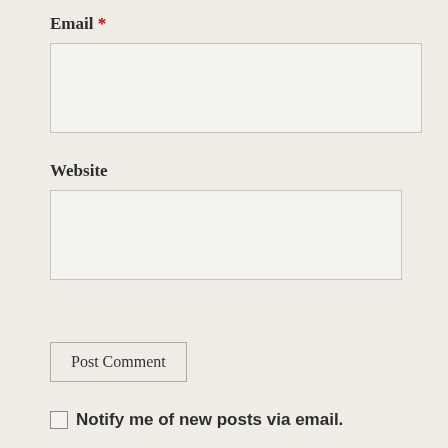Email *
[Figure (other): Empty email input text field]
Website
[Figure (other): Empty website input text field]
Post Comment
Notify me of new posts via email.